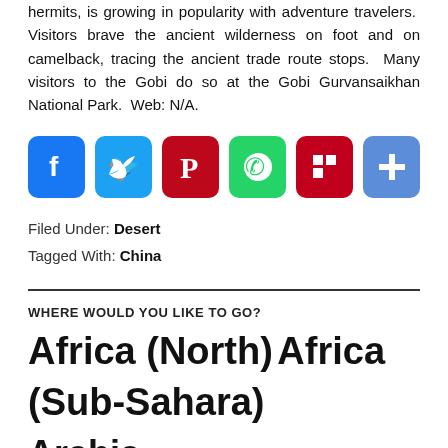hermits, is growing in popularity with adventure travelers. Visitors brave the ancient wilderness on foot and on camelback, tracing the ancient trade route stops. Many visitors to the Gobi do so at the Gobi Gurvansaikhan National Park. Web: N/A.
[Figure (infographic): Social sharing icons: Facebook (blue), Twitter (light blue), Pinterest (dark red), WhatsApp (green), Flipboard (red), Share (blue)]
Filed Under: Desert
Tagged With: China
WHERE WOULD YOU LIKE TO GO?
Africa (North) Africa (Sub-Sahara)
Arabia Armenia/Azerbaijan/Georgia Australia/Pacific